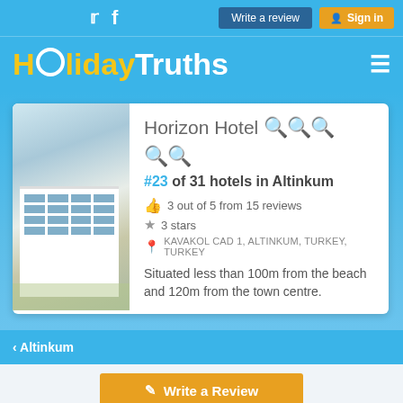HolidayTruths — Write a review | Sign in
[Figure (screenshot): HolidayTruths website header with logo and navigation buttons]
Horizon Hotel ★★★☆☆
#23 of 31 hotels in Altinkum
3 out of 5 from 15 reviews
3 stars
KAVAKOL CAD 1, ALTINKUM, TURKEY, TURKEY
Situated less than 100m from the beach and 120m from the town centre.
< Altinkum
Write a Review